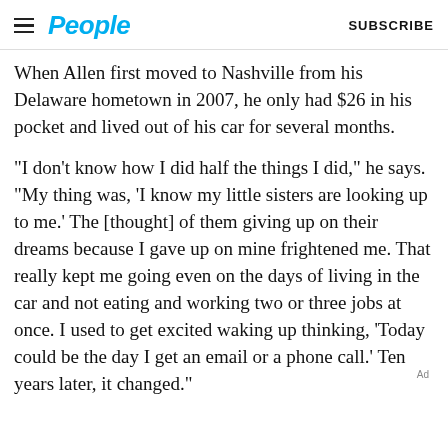People  SUBSCRIBE
When Allen first moved to Nashville from his Delaware hometown in 2007, he only had $26 in his pocket and lived out of his car for several months.
“I don’t know how I did half the things I did,” he says. “My thing was, ‘I know my little sisters are looking up to me.’ The [thought] of them giving up on their dreams because I gave up on mine frightened me. That really kept me going even on the days of living in the car and not eating and working two or three jobs at once. I used to get excited waking up thinking, ‘Today could be the day I get an email or a phone call.’ Ten years later, it changed.”